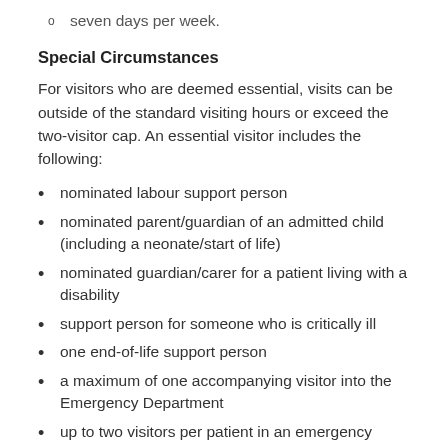seven days per week.
Special Circumstances
For visitors who are deemed essential, visits can be outside of the standard visiting hours or exceed the two-visitor cap. An essential visitor includes the following:
nominated labour support person
nominated parent/guardian of an admitted child (including a neonate/start of life)
nominated guardian/carer for a patient living with a disability
support person for someone who is critically ill
one end-of-life support person
a maximum of one accompanying visitor into the Emergency Department
up to two visitors per patient in an emergency circumstance (not all emergency